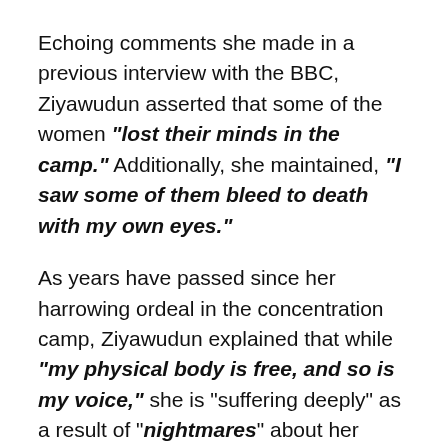Echoing comments she made in a previous interview with the BBC, Ziyawudun asserted that some of the women "lost their minds in the camp." Additionally, she maintained, "I saw some of them bleed to death with my own eyes."
As years have passed since her harrowing ordeal in the concentration camp, Ziyawudun explained that while "my physical body is free, and so is my voice," she is "suffering deeply" as a result of "nightmares" about her detention. She has since resettled in the U.S., "with the help of the U.S. government and the Uyghur Human Rights Project."
Although these memories make Ziyawudun's heart feel "as though it's been sliced with a dagger," she feels obligated to tell her story: "I have to speak out, because...